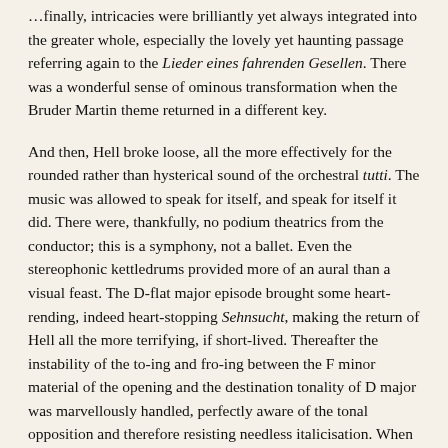…finally, intricacies were brilliantly yet always integrated into the greater whole, especially the lovely yet haunting passage referring again to the Lieder eines fahrenden Gesellen. There was a wonderful sense of ominous transformation when the Bruder Martin theme returned in a different key.
And then, Hell broke loose, all the more effectively for the rounded rather than hysterical sound of the orchestral tutti. The music was allowed to speak for itself, and speak for itself it did. There were, thankfully, no podium theatrics from the conductor; this is a symphony, not a ballet. Even the stereophonic kettledrums provided more of an aural than a visual feast. The D-flat major episode brought some heart-rending, indeed heart-stopping Sehnsucht, making the return of Hell all the more terrifying, if short-lived. Thereafter the instability of the to-ing and fro-ing between the F minor material of the opening and the destination tonality of D major was marvellously handled, perfectly aware of the tonal opposition and therefore resisting needless italicisation. When the horns finally did scream, leading us into D major proper and soon therefore resuming their earlier nobility, they were all the more powerful for not previously having shot their bolt. There was an apt sense of exhausted heaviness in the lead up to the final triumph, which thereby sounded all the more exultant – and hair-